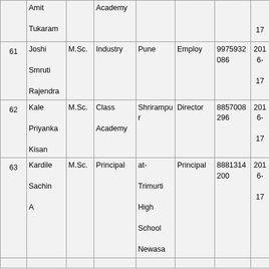|  | Amit
Tukaram |  | Academy |  |  |  | 17 |
| 61 | Joshi
Smruti
Rajendra | M.Sc. | Industry | Pune | Employ | 9975932086 | 2016-17 |
| 62 | Kale
Priyanka
Kisan | M.Sc. | Class
Academy | Shrirampur | Director | 8857008296 | 2016-17 |
| 63 | Kardile
Sachin
A | M.Sc. | Principal | at-Trimurti
High
School
Newasa | Principal | 8881314200 | 2016-17 |